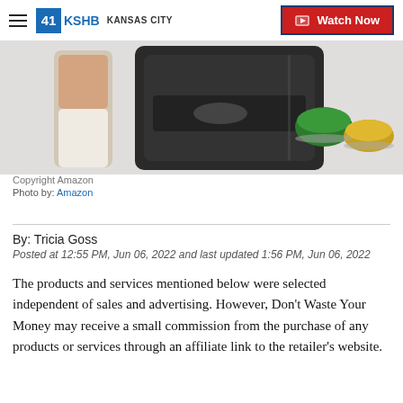41 KSHB Kansas City | Watch Now
[Figure (photo): Nespresso coffee machine with a latte glass on the left, and two Nespresso capsules (green and gold/yellow) on the right, on a white background.]
Copyright Amazon
Photo by: Amazon
By: Tricia Goss
Posted at 12:55 PM, Jun 06, 2022 and last updated 1:56 PM, Jun 06, 2022
The products and services mentioned below were selected independent of sales and advertising. However, Don't Waste Your Money may receive a small commission from the purchase of any products or services through an affiliate link to the retailer's website.